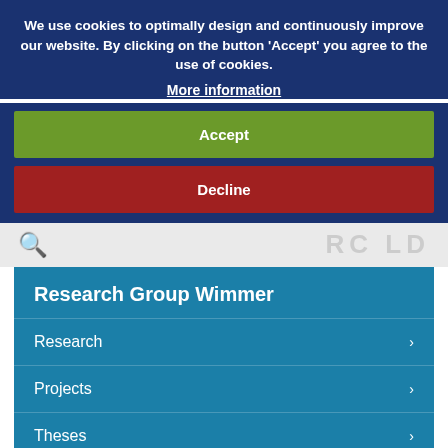We use cookies to optimally design and continuously improve our website. By clicking on the button 'Accept' you agree to the use of cookies.
More information
Accept
Decline
Research Group Wimmer
Research
Projects
Theses
Publications
Team